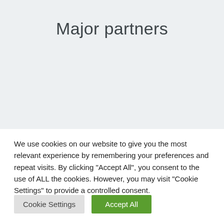Major partners
We use cookies on our website to give you the most relevant experience by remembering your preferences and repeat visits. By clicking "Accept All", you consent to the use of ALL the cookies. However, you may visit "Cookie Settings" to provide a controlled consent.
Cookie Settings
Accept All